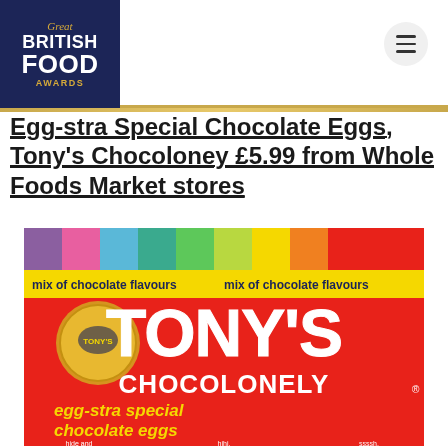Great British Food Awards
Egg-stra Special Chocolate Eggs, Tony's Chocoloney £5.99 from Whole Foods Market stores
[Figure (photo): Tony's Chocolonely egg-stra special chocolate eggs bag with rainbow colored stripes on red background, showing 'TONY'S CHOCOLONELY egg-stra special chocolate eggs' branding. Product packaging with text 'mix of chocolate flavours' visible at top.]